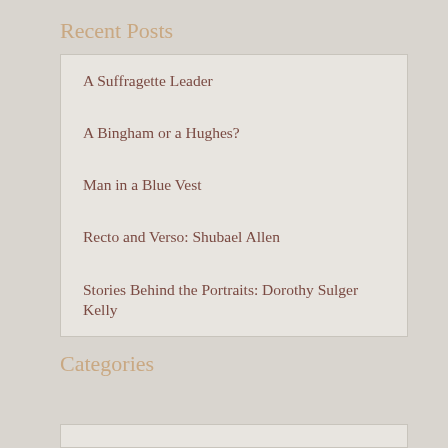Recent Posts
A Suffragette Leader
A Bingham or a Hughes?
Man in a Blue Vest
Recto and Verso: Shubael Allen
Stories Behind the Portraits: Dorothy Sulger Kelly
Categories